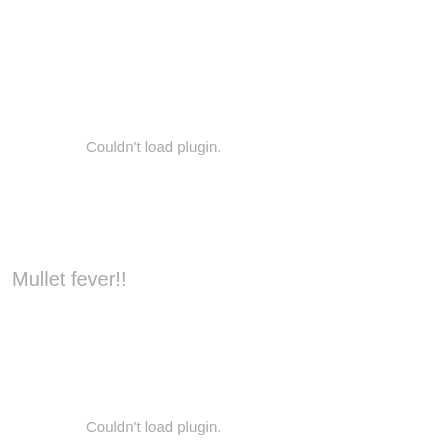Couldn't load plugin.
Mullet fever!!
Couldn't load plugin.